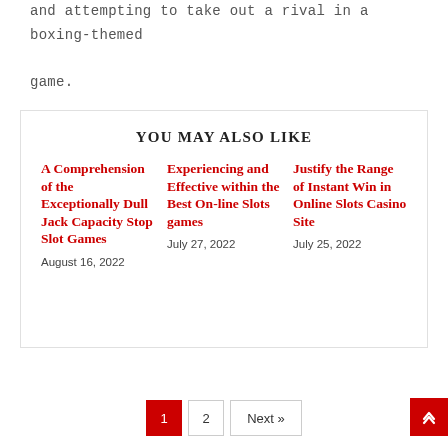and attempting to take out a rival in a boxing-themed game.
YOU MAY ALSO LIKE
A Comprehension of the Exceptionally Dull Jack Capacity Stop Slot Games
August 16, 2022
Experiencing and Effective within the Best On-line Slots games
July 27, 2022
Justify the Range of Instant Win in Online Slots Casino Site
July 25, 2022
1  2  Next »